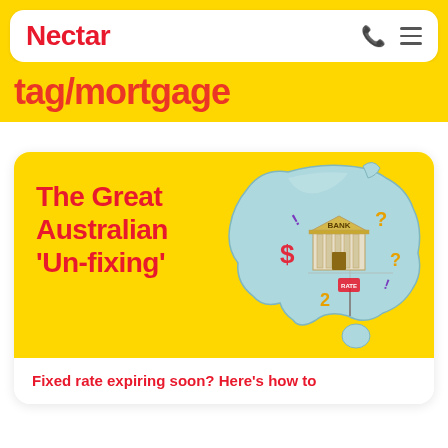Nectar
tag/mortgage
[Figure (illustration): Nectar finance website screenshot showing 'The Great Australian Un-fixing' article card with Australia map illustration featuring a bank building with dollar signs and question marks, on a yellow background]
The Great Australian 'Un-fixing'
Fixed rate expiring soon? Here's how to